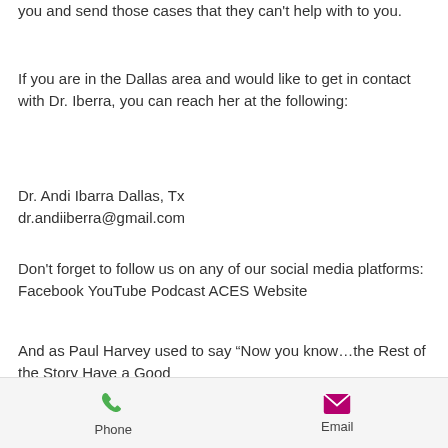you and send those cases that they can't help with to you.
If you are in the Dallas area and would like to get in contact with Dr. Iberra, you can reach her at the following:
Dr. Andi Ibarra Dallas, Tx
dr.andiiberra@gmail.com
Don't forget to follow us on any of our social media platforms: Facebook YouTube Podcast ACES Website
And as Paul Harvey used to say “Now you know…the Rest of the Story Have a Good
Phone   Email